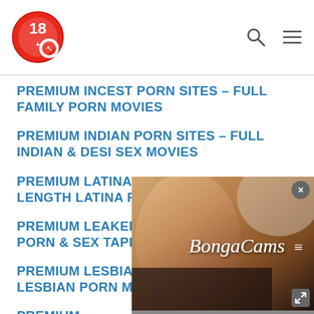18+ [logo] search menu
PREMIUM INCEST PORN SITES – FULL FAMILY PORN MOVIES
PREMIUM INDIAN PORN SITES – FULL INDIAN & DESI SEX MOVIES
PREMIUM LATINA PORN SITES – FULL-LENGTH LATINA PORN MOVIES
PREMIUM LEAKED CELEBRITY NUDES, PORN & SEX TAPES
PREMIUM LESBIAN PORN SITES – FULL LESBIAN PORN MOVIES
PREMIUM MATURE & MOM PORN MOVIES
PREMIUM ONLYFANS
[Figure (photo): BongaCams advertisement overlay showing a person with the BongaCams logo text in white over a warm-toned background, with a close (x) button and expand button]